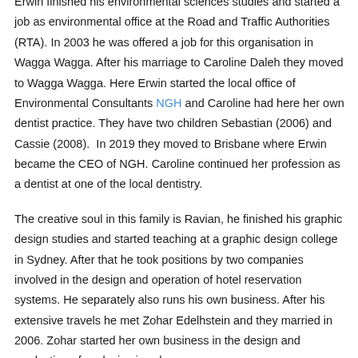Erwin finished his environmental sciences studies and started a job as environmental office at the Road and Traffic Authorities (RTA). In 2003 he was offered a job for this organisation in Wagga Wagga. After his marriage to Caroline Daleh they moved to Wagga Wagga. Here Erwin started the local office of Environmental Consultants NGH and Caroline had here her own dentist practice. They have two children Sebastian (2006) and Cassie (2008).  In 2019 they moved to Brisbane where Erwin became the CEO of NGH. Caroline continued her profession as a dentist at one of the local dentistry.
The creative soul in this family is Ravian, he finished his graphic design studies and started teaching at a graphic design college in Sydney. After that he took positions by two companies involved in the design and operation of hotel reservation systems. He separately also runs his own business. After his extensive travels he met Zohar Edelhstein and they married in 2006. Zohar started her own business in the design and production of exclusive jewelry.